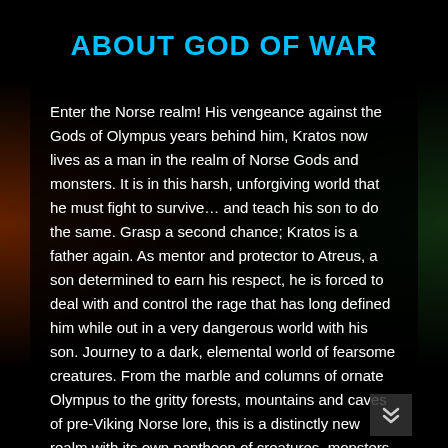ABOUT GOD OF WAR
Enter the Norse realm! His vengeance against the Gods of Olympus years behind him, Kratos now lives as a man in the realm of Norse Gods and monsters. It is in this harsh, unforgiving world that he must fight to survive… and teach his son to do the same. Grasp a second chance; Kratos is a father again. As mentor and protector to Atreus, a son determined to earn his respect, he is forced to deal with and control the rage that has long defined him while out in a very dangerous world with his son. Journey to a dark, elemental world of fearsome creatures. From the marble and columns of ornate Olympus to the gritty forests, mountains and caves of pre-Viking Norse lore, this is a distinctly new realm with its own pantheon of creatures, monsters and gods.